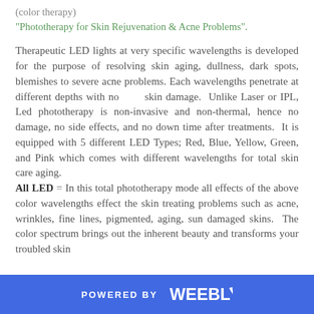(color therapy)
"Phototherapy for Skin Rejuvenation & Acne Problems".
Therapeutic LED lights at very specific wavelengths is developed for the purpose of resolving skin aging, dullness, dark spots, blemishes to severe acne problems. Each wavelengths penetrate at different depths with no skin damage. Unlike Laser or IPL, Led phototherapy is non-invasive and non-thermal, hence no damage, no side effects, and no down time after treatments. It is equipped with 5 different LED Types; Red, Blue, Yellow, Green, and Pink which comes with different wavelengths for total skin care aging. All LED = In this total phototherapy mode all effects of the above color wavelengths effect the skin treating problems such as acne, wrinkles, fine lines, pigmented, aging, sun damaged skins. The color spectrum brings out the inherent beauty and transforms your troubled skin
POWERED BY weebly